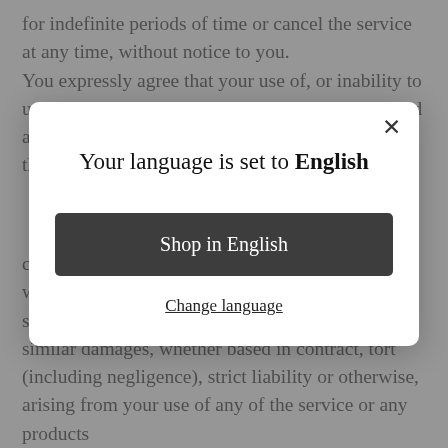for indefinite periods of time or cancel the service at any time, without notice to you. You expressly agree that your use of, or inability to use, the service is at your sole risk. The service and all products and services delivered to you through the service are (except as
[Figure (screenshot): Modal dialog popup with white background and rounded corners. Contains title 'Your language is set to English', a dark button 'Shop in English', and an underlined text link 'Change language'. An X close button is in the top right corner.]
consequential damages of any kind, including, without limitation lost profits, lost revenue, lost savings, loss of data, replacement costs, or any similar damages, whether based in contract, tort (including negligence), strict liability or otherwise, arising from your use of any of the service or any products